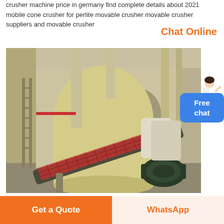crusher machine price in germany find complete details about 2021 mobile cone crusher for perlite movable crusher movable crusher suppliers and movable crusher
Chat Online
[Figure (photo): Industrial grinding/milling facility interior showing large yellow cylindrical equipment, conveyor belt system with red mesh guard, electric motor, piping, and storage bags in the background.]
Free chat
Get a Quote
WhatsApp